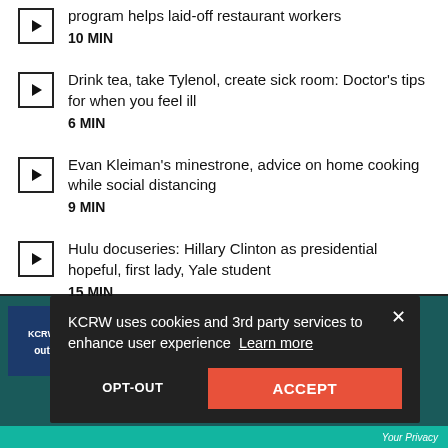program helps laid-off restaurant workers 10 MIN
Drink tea, take Tylenol, create sick room: Doctor's tips for when you feel ill 6 MIN
Evan Kleiman's minestrone, advice on home cooking while social distancing 9 MIN
Hulu docuseries: Hillary Clinton as presidential hopeful, first lady, Yale student 15 MIN
KCRW uses cookies and 3rd party services to enhance user experience Learn more
OPT-OUT
ACCEPT
Your Privacy